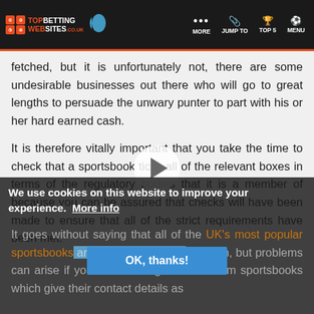Top Betting Websites — MORE | JUMP TO | TOP 5 | MENU
fetched, but it is unfortunately not, there are some undesirable businesses out there who will go to great lengths to persuade the unwary punter to part with his or her hard earned cash.
It is therefore vitally important that you take the time to check that a sportsbook ticks all of the relevant boxes in terms of the regulatory bodies that it is a member of because you can be assured that checks will have been made to ensure that all of the strict requirements have been met.
We use cookies on this website to improve your experience.  More info
It goes without saying that all of the UK's most popular sportsbooks are extremely safe to bet with, but problems can arise if you start looking at offers from sportsbooks which give their contact details as